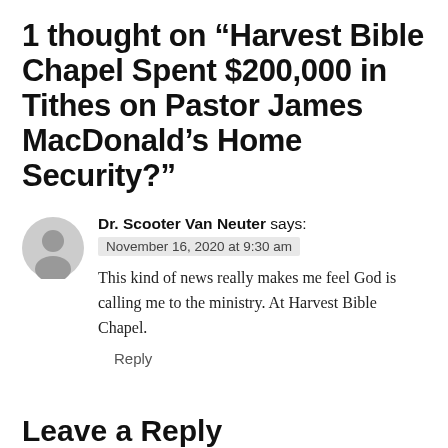1 thought on “Harvest Bible Chapel Spent $200,000 in Tithes on Pastor James MacDonald’s Home Security?”
Dr. Scooter Van Neuter says: November 16, 2020 at 9:30 am
This kind of news really makes me feel God is calling me to the ministry. At Harvest Bible Chapel.
Reply
Leave a Reply